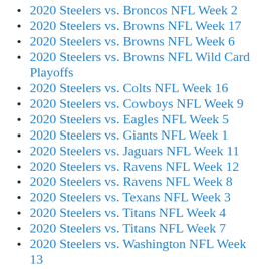2020 Steelers vs. Broncos NFL Week 2
2020 Steelers vs. Browns NFL Week 17
2020 Steelers vs. Browns NFL Week 6
2020 Steelers vs. Browns NFL Wild Card Playoffs
2020 Steelers vs. Colts NFL Week 16
2020 Steelers vs. Cowboys NFL Week 9
2020 Steelers vs. Eagles NFL Week 5
2020 Steelers vs. Giants NFL Week 1
2020 Steelers vs. Jaguars NFL Week 11
2020 Steelers vs. Ravens NFL Week 12
2020 Steelers vs. Ravens NFL Week 8
2020 Steelers vs. Texans NFL Week 3
2020 Steelers vs. Titans NFL Week 4
2020 Steelers vs. Titans NFL Week 7
2020 Steelers vs. Washington NFL Week 13